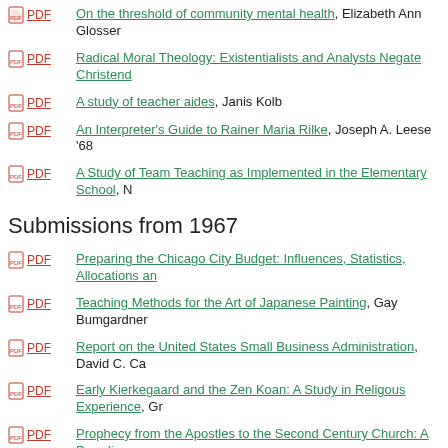PDF  On the threshold of community mental health, Elizabeth Ann Glosser
PDF  Radical Moral Theology: Existentialists and Analysts Negate Christend
PDF  A study of teacher aides, Janis Kolb
PDF  An Interpreter's Guide to Rainer Maria Rilke, Joseph A. Leese '68
PDF  A Study of Team Teaching as Implemented in the Elementary School, N
Submissions from 1967
PDF  Preparing the Chicago City Budget: Influences, Statistics, Allocations an
PDF  Teaching Methods for the Art of Japanese Painting, Gay Bumgardner
PDF  Report on the United States Small Business Administration, David C. Ca
PDF  Early Kierkegaard and the Zen Koan: A Study in Religous Experience, Gr
PDF  Prophecy from the Apostles to the Second Century Church: A Paradigm  Gwendolyn L. Gebhard '67
PDF  The Politics of the 1965 Gold Reserve Law, Robert E. Hendrick